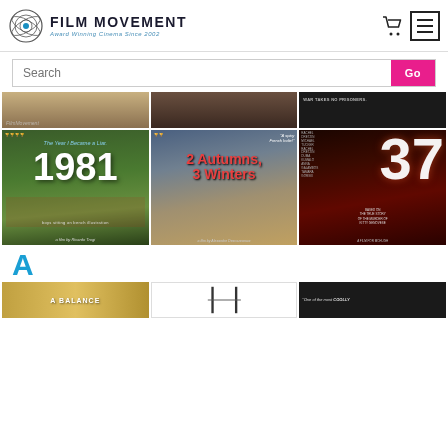FILM MOVEMENT — Award Winning Cinema Since 2002
Search
[Figure (photo): Top row of three partially visible film poster images (cropped at top): a landscape/man, a close-up face, and a dark war-themed poster reading 'WAR TAKES NO PRISONERS']
[Figure (photo): Film poster: 1981 — The Year I Became a Liar, a film by Ricardo Trogi. Shows boys on a bench.]
[Figure (photo): Film poster: 2 Autumns, 3 Winters. Shows couple with Eiffel Tower. Quote: 'A spicy French Indie!']
[Figure (photo): Film poster: 37. Shows a figure in white in a red-lit doorway. Based on the true story of Kitty Genovese.]
A
[Figure (photo): Bottom row of three partially visible film poster images: 'A BALANCE', a vertical lines poster, and a third poster with quote 'One of the most COOLLY']